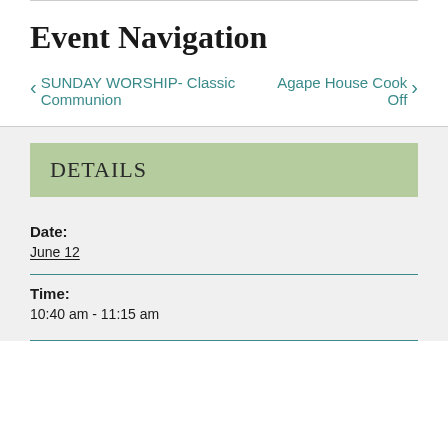Event Navigation
< SUNDAY WORSHIP- Classic Communion
Agape House Cook Off >
DETAILS
Date:
June 12
Time:
10:40 am - 11:15 am